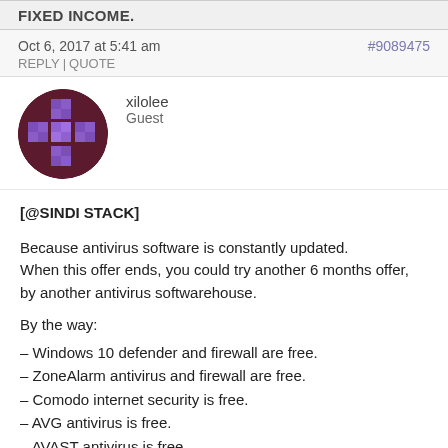FIXED INCOME.
Oct 6, 2017 at 5:41 am
REPLY | QUOTE
#9089475
xilolee
Guest
[Figure (illustration): Circular avatar with purple pixelated cross/plus pattern on dark maroon background]
[@SINDI STACK]

Because antivirus software is constantly updated. When this offer ends, you could try another 6 months offer, by another antivirus softwarehouse.

By the way:
– Windows 10 defender and firewall are free.
– ZoneAlarm antivirus and firewall are free.
– Comodo internet security is free.
– AVG antivirus is free.
– AVAST antivirus is free.
– Avira antivirus is free.
– Bitdefender antivirus free exists too.
– And so forth.